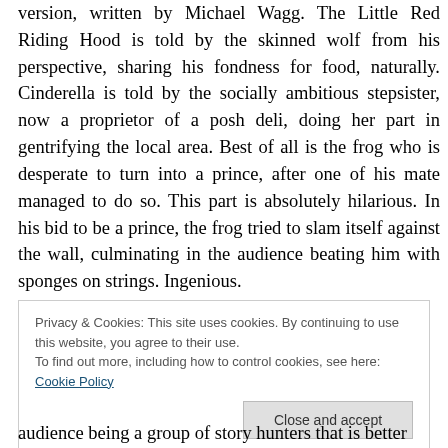version, written by Michael Wagg. The Little Red Riding Hood is told by the skinned wolf from his perspective, sharing his fondness for food, naturally. Cinderella is told by the socially ambitious stepsister, now a proprietor of a posh deli, doing her part in gentrifying the local area. Best of all is the frog who is desperate to turn into a prince, after one of his mate managed to do so. This part is absolutely hilarious. In his bid to be a prince, the frog tried to slam itself against the wall, culminating in the audience beating him with sponges on strings. Ingenious.
Privacy & Cookies: This site uses cookies. By continuing to use this website, you agree to their use. To find out more, including how to control cookies, see here: Cookie Policy
audience being a group of story hunters that is better